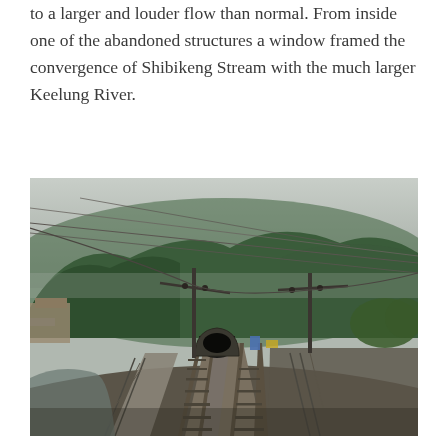to a larger and louder flow than normal. From inside one of the abandoned structures a window framed the convergence of Shibikeng Stream with the much larger Keelung River.
[Figure (photo): A railroad track scene in a mountainous, overcast area. The tracks converge toward a tunnel in the background. Electric poles with overhead wires line the tracks. Green forested hills rise in the background under a grey sky. A small stream and fence are visible on the left side. Buildings are partially visible on the far left.]